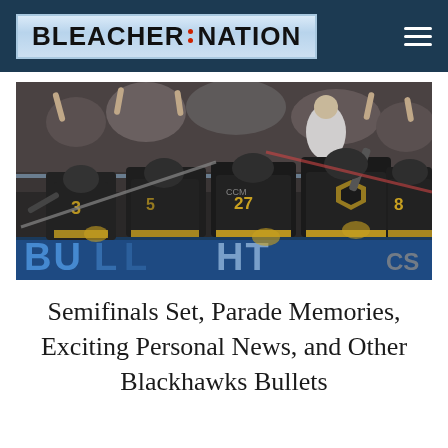BLEACHER NATION
[Figure (photo): Vegas Golden Knights hockey players in black jerseys celebrating on ice, with players wearing numbers 3, 27, and others visible, crowd cheering in background, rink advertisement boards visible at bottom]
Semifinals Set, Parade Memories, Exciting Personal News, and Other Blackhawks Bullets